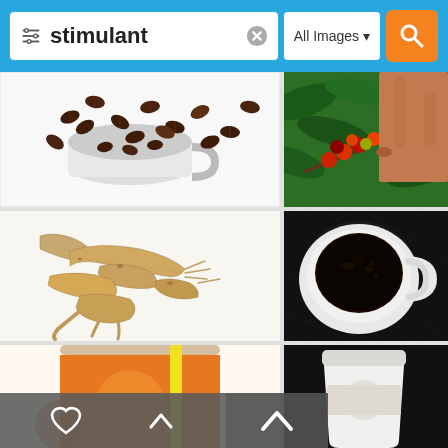[Figure (screenshot): Mobile image search interface showing search bar with 'stimulant' query and 'All Images' filter, with search results showing coffee beans, coffee cherries being picked, ginseng roots, black coffee cup, and partial bottom row images. Bottom navigation bar with heart and chevron icons visible.]